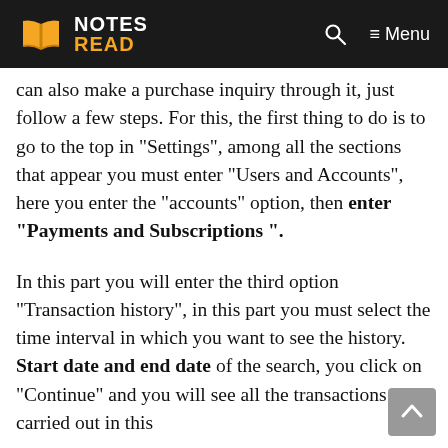NOTES READ [logo] [search icon] Menu
can also make a purchase inquiry through it, just follow a few steps. For this, the first thing to do is to go to the top in “Settings”, among all the sections that appear you must enter “Users and Accounts”, here you enter the “accounts” option, then enter “Payments and Subscriptions ”.
In this part you will enter the third option “Transaction history”, in this part you must select the time interval in which you want to see the history. Start date and end date of the search, you click on “Continue” and you will see all the transactions carried out in this